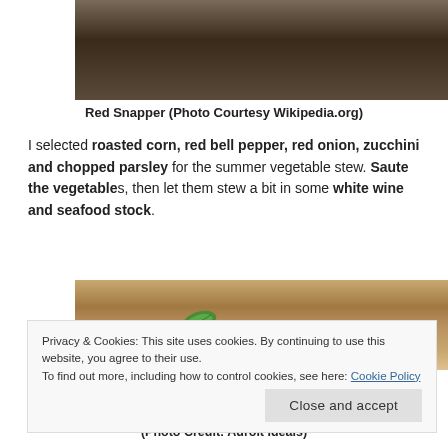[Figure (photo): Partial photo of Red Snapper fish on a wooden surface, cropped at top]
Red Snapper (Photo Courtesy Wikipedia.org)
I selected roasted corn, red bell pepper, red onion, zucchini and chopped parsley for the summer vegetable stew. Saute the vegetables, then let them stew a bit in some white wine and seafood stock.
[Figure (photo): Photo of cooked fish dish with green basil leaves, golden brown pieces on a white plate]
(Photo Credit: Adroit Ideals)
Privacy & Cookies: This site uses cookies. By continuing to use this website, you agree to their use.
To find out more, including how to control cookies, see here: Cookie Policy